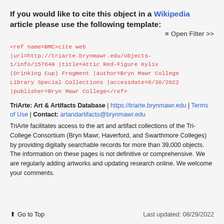If you would like to cite this object in a Wikipedia article please use the following template:
≡ Open Filter >>
<ref name=BMC>cite web |url=http://triarte.brynmawr.edu/objects-1/info/157649 |title=Attic Red-Figure Kylix (Drinking Cup) Fragment |author=Bryn Mawr College Library Special Collections |accessdate=8/30/2022 |publisher=Bryn Mawr College</ref>
TriArte: Art & Artifacts Database | https://triarte.brynmawr.edu | Terms of Use | Contact: artandartifacts@brynmawr.edu
TriArte facilitates access to the art and artifact collections of the Tri-College Consortium (Bryn Mawr, Haverford, and Swarthmore Colleges) by providing digitally searchable records for more than 39,000 objects. The information on these pages is not definitive or comprehensive. We are regularly adding artworks and updating research online. We welcome your comments.
Go to Top | Last updated: 08/29/2022